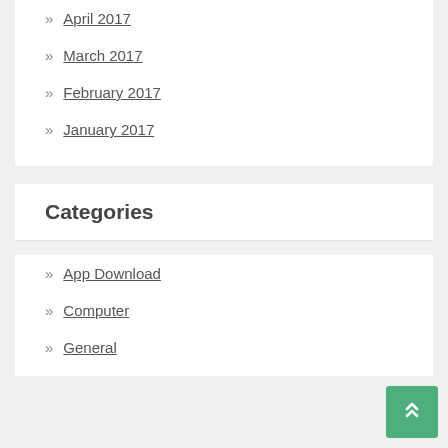» April 2017
» March 2017
» February 2017
» January 2017
Categories
» App Download
» Computer
» General